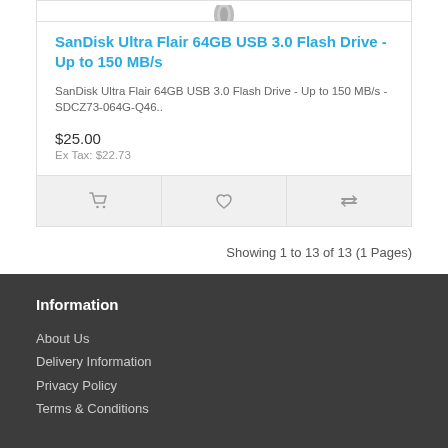[Figure (photo): Partial product image of SanDisk USB flash drive at top of card]
SanDisk Ultra Flair 64GB USB 3.0 Flash Drive - Up to 150 MB/s
SanDisk Ultra Flair 64GB USB 3.0 Flash Drive - Up to 150 MB/s - SDCZ73-064G-Q46..
$25.00
Ex Tax: $22.73
Showing 1 to 13 of 13 (1 Pages)
Information
About Us
Delivery Information
Privacy Policy
Terms & Conditions